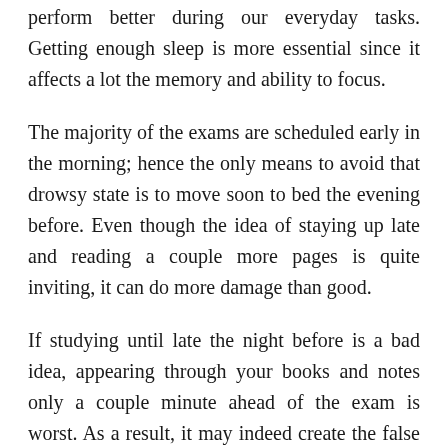perform better during our everyday tasks. Getting enough sleep is more essential since it affects a lot the memory and ability to focus.
The majority of the exams are scheduled early in the morning; hence the only means to avoid that drowsy state is to move soon to bed the evening before. Even though the idea of staying up late and reading a couple more pages is quite inviting, it can do more damage than good.
If studying until late the night before is a bad idea, appearing through your books and notes only a couple minute ahead of the exam is worst. As a result, it may indeed create the false belief you don't know particular information, just as you are worried and can't focus. This will only result in more